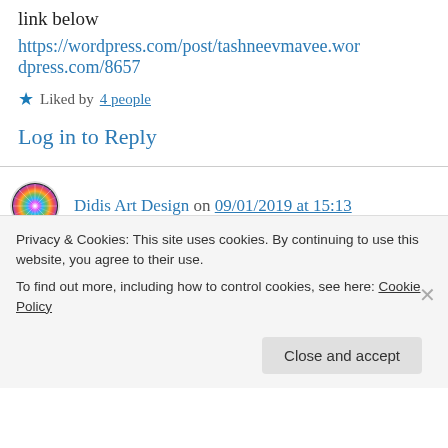link below
https://wordpress.com/post/tashneevmavee.wordpress.com/8657
★ Liked by 4 people
Log in to Reply
Didis Art Design on 09/01/2019 at 15:13
👍 0 👎 0 ℹ Rate This
My dear friend Tashnee,
Privacy & Cookies: This site uses cookies. By continuing to use this website, you agree to their use.
To find out more, including how to control cookies, see here: Cookie Policy
Close and accept